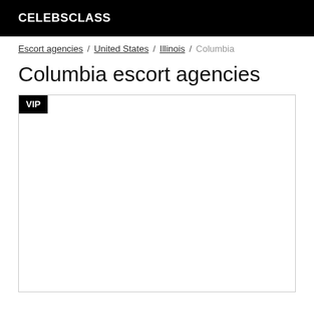CELEBSCLASS
Escort agencies / United States / Illinois / Columbia
Columbia escort agencies
[Figure (other): VIP listing card placeholder with a black VIP badge in the top-left corner and an empty white content area below.]